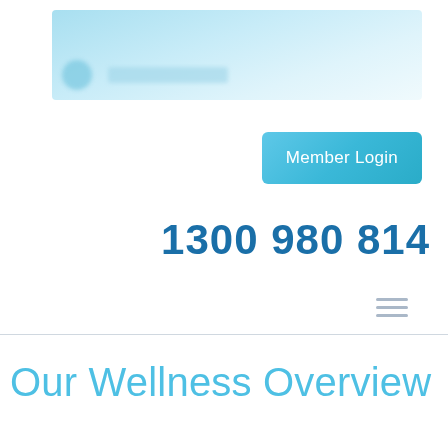[Figure (logo): Blurred health insurance company logo banner with light blue gradient background, circular logo mark on left and text on right]
Member Login
1300 980 814
[Figure (other): Hamburger menu icon (three horizontal lines)]
Our Wellness Overview